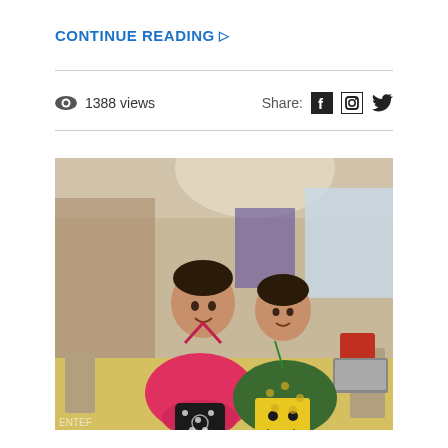CONTINUE READING ▷
👁 1388 views   Share: f 🅸 🐦
[Figure (photo): Two people standing together smiling, holding items — a man in a pink polo shirt holding a black gift bag with white polka dots, and a woman in a green floral dress holding a yellow book or card with a smiley face design. They are in an event venue with banners and chairs visible in the background.]